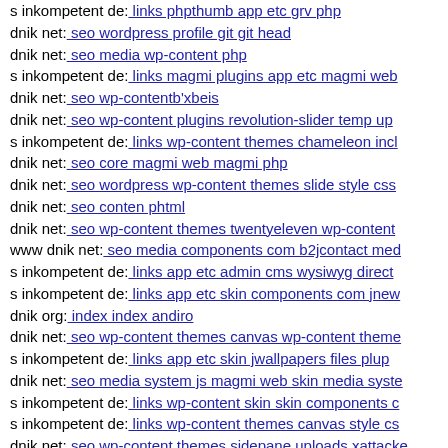s inkompetent de: links phpthumb app etc grv php
dnik net: seo wordpress profile git git head
dnik net: seo media wp-content php
s inkompetent de: links magmi plugins app etc magmi web
dnik net: seo wp-contentb'xbeis
dnik net: seo wp-content plugins revolution-slider temp up
s inkompetent de: links wp-content themes chameleon incl
dnik net: seo core magmi web magmi php
dnik net: seo wordpress wp-content themes slide style css
dnik net: seo conten phtml
dnik net: seo wp-content themes twentyeleven wp-content
www dnik net: seo media components com b2jcontact med
s inkompetent de: links app etc admin cms wysiwyg direct
s inkompetent de: links app etc skin components com jnew
dnik org: index index andiro
dnik net: seo wp-content themes canvas wp-content theme
s inkompetent de: links app etc skin jwallpapers files plup
dnik net: seo media system js magmi web skin media syste
s inkompetent de: links wp-content skin skin components c
s inkompetent de: links wp-content themes canvas style cs
dnik net: seo wp-content themes sidepane uploads xattacke